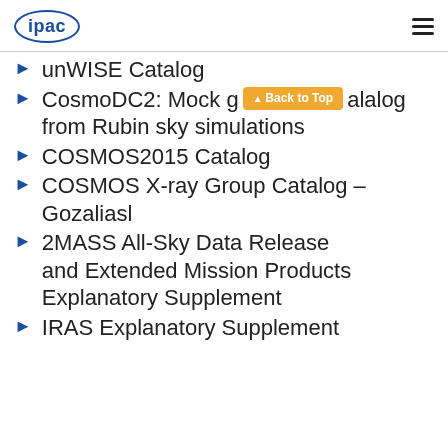ipac
unWISE Catalog
CosmoDC2: Mock galaxy catalog from Rubin sky simulations
COSMOS2015 Catalog
COSMOS X-ray Group Catalog - Gozaliasl
2MASS All-Sky Data Release and Extended Mission Products Explanatory Supplement
IRAS Explanatory Supplement